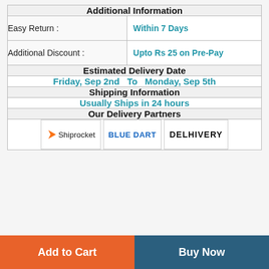| Additional Information |
| --- |
| Easy Return : | Within 7 Days |
| Additional Discount : | Upto Rs 25 on Pre-Pay |
| Estimated Delivery Date |  |
| Friday, Sep 2nd   To  Monday, Sep 5th |  |
| Shipping Information |  |
| Usually Ships in 24 hours |  |
| Our Delivery Partners |  |
| Shiprocket | BLUE DART | DELHIVERY |  |
Add to Cart
Buy Now